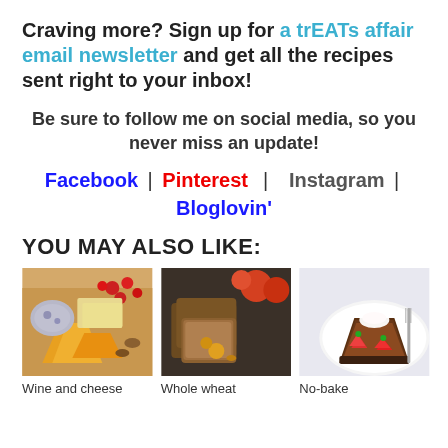Craving more? Sign up for a trEATs affair email newsletter and get all the recipes sent right to your inbox!
Be sure to follow me on social media, so you never miss an update!
Facebook | Pinterest | Instagram | Bloglovin'
YOU MAY ALSO LIKE:
[Figure (photo): Wine and cheese plate with grapes, cranberries, and various cheeses]
[Figure (photo): Whole wheat bread slices with apples and fruit]
[Figure (photo): No-bake chocolate pie slice with strawberries and whipped cream]
Wine and cheese
Whole wheat
No-bake